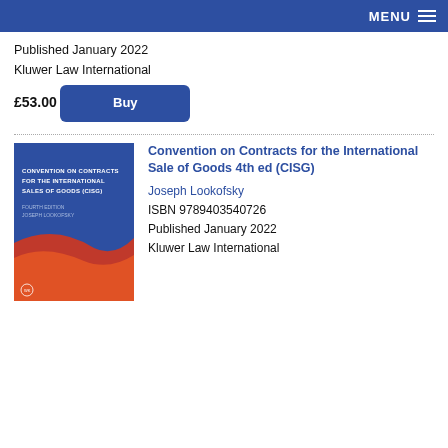MENU
Published January 2022
Kluwer Law International
£53.00
[Figure (illustration): Book cover for Convention on Contracts for the International Sales of Goods (CISG), 4th edition. Blue cover with orange wave design and Wolters Kluwer logo.]
Convention on Contracts for the International Sale of Goods 4th ed (CISG)
Joseph Lookofsky
ISBN 9789403540726
Published January 2022
Kluwer Law International